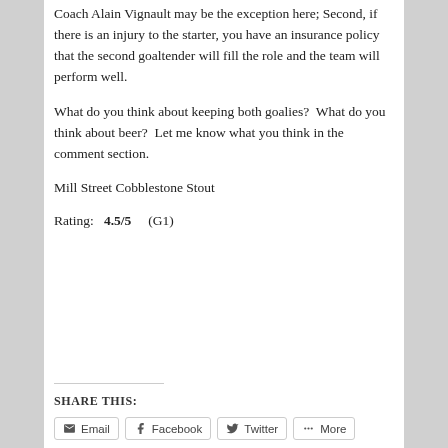Coach Alain Vignault may be the exception here; Second, if there is an injury to the starter, you have an insurance policy that the second goaltender will fill the role and the team will perform well.
What do you think about keeping both goalies?  What do you think about beer?  Let me know what you think in the comment section.
Mill Street Cobblestone Stout
Rating:   4.5/5    (G1)
SHARE THIS:
Email   Facebook   Twitter   More